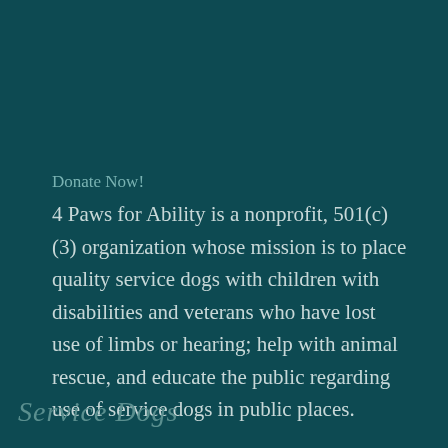Donate Now!
4 Paws for Ability is a nonprofit, 501(c)(3) organization whose mission is to place quality service dogs with children with disabilities and veterans who have lost use of limbs or hearing; help with animal rescue, and educate the public regarding use of service dogs in public places.
Service Dogs